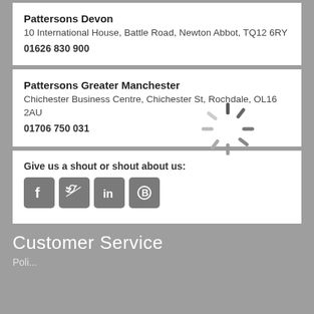Pattersons Devon
10 International House, Battle Road, Newton Abbot, TQ12 6RY
01626 830 900
Pattersons Greater Manchester
Chichester Business Centre, Chichester St, Rochdale, OL16 2AU
01706 750 031
[Figure (illustration): Loading spinner / activity indicator graphic in grey]
Give us a shout or shout about us:
[Figure (illustration): Social media icons: Facebook, Twitter, LinkedIn, and a chat/blog icon, all in grey square buttons]
Customer Service
Poli...